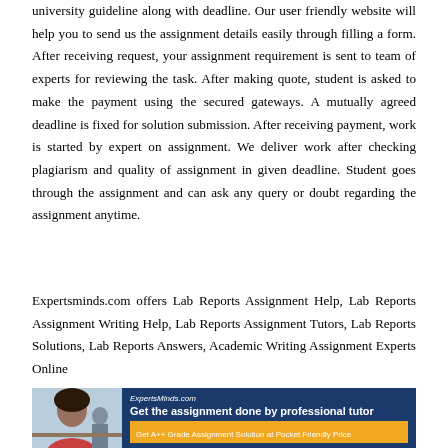university guideline along with deadline. Our user friendly website will help you to send us the assignment details easily through filling a form. After receiving request, your assignment requirement is sent to team of experts for reviewing the task. After making quote, student is asked to make the payment using the secured gateways. A mutually agreed deadline is fixed for solution submission. After receiving payment, work is started by expert on assignment. We deliver work after checking plagiarism and quality of assignment in given deadline. Student goes through the assignment and can ask any query or doubt regarding the assignment anytime.
Expertsminds.com offers Lab Reports Assignment Help, Lab Reports Assignment Writing Help, Lab Reports Assignment Tutors, Lab Reports Solutions, Lab Reports Answers, Academic Writing Assignment Experts Online
[Figure (infographic): Advertisement banner for Expertsminds.com showing a student studying with text 'Get the assignment done by professional tutor' and 'Get A++ Grade Assignment Solution at Pocket Friendly Price']